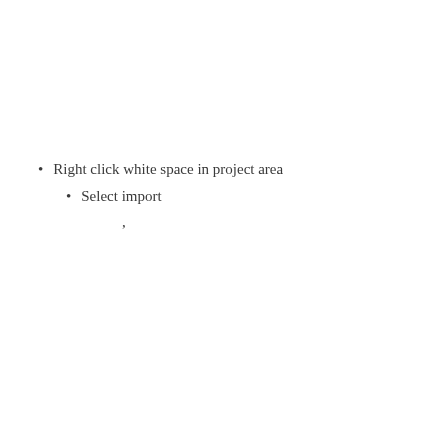Right click white space in project area
Select import
,